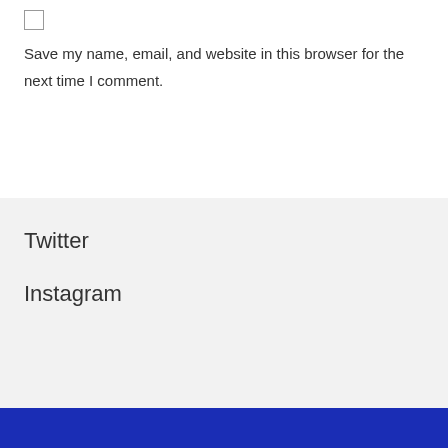Save my name, email, and website in this browser for the next time I comment.
Twitter
Instagram